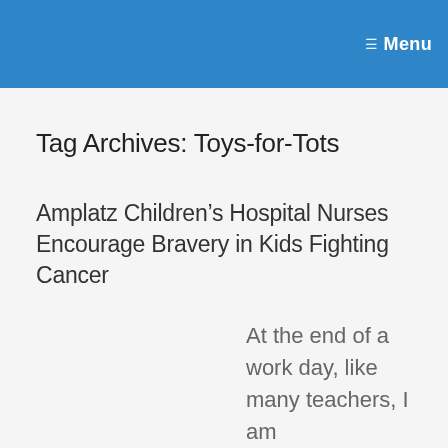Menu
Tag Archives: Toys-for-Tots
Amplatz Children’s Hospital Nurses Encourage Bravery in Kids Fighting Cancer
At the end of a work day, like many teachers, I am